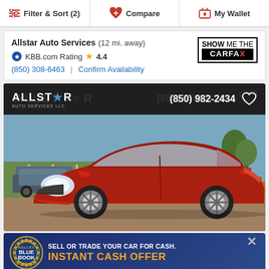Filter & Sort (2) | Compare | My Wallet
Allstar Auto Services (12 mi. away) KBB.com Rating 4.4 (850) 308-6463 | Confirm Availability
[Figure (photo): Red Hyundai coupe at Allstar Auto Services lot. Dealer logo 'ALLSTAR' with star in O, phone (850) 982-2434, heart/favorite icon. Car is a sporty red 2-door coupe photographed in a gravel dealer lot with greenery and other vehicles in background.]
[Figure (infographic): Kelley Blue Book advertisement banner: 'SELL OR TRADE YOUR CAR FOR CASH. INSTANT CASH OFFER' with KBB Official Guide seal logo and close X button.]